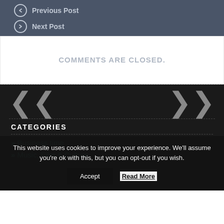Previous Post
Next Post
COMMENTS ARE CLOSED.
CATEGORIES
» Business time
» Music, Film & Culture
This website uses cookies to improve your experience. We'll assume you're ok with this, but you can opt-out if you wish.